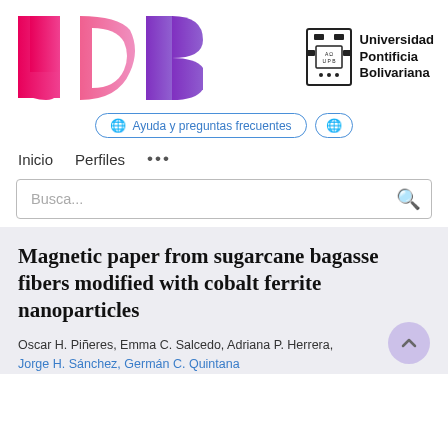[Figure (logo): JPB journal logo (large pink/magenta J, pink D, purple B) and Universidad Pontificia Bolivariana crest with text]
Ayuda y preguntas frecuentes
Inicio   Perfiles   ...
Busca...
Magnetic paper from sugarcane bagasse fibers modified with cobalt ferrite nanoparticles
Oscar H. Piñeres, Emma C. Salcedo, Adriana P. Herrera, Jorge H. Sánchez, Germán C. Quintana